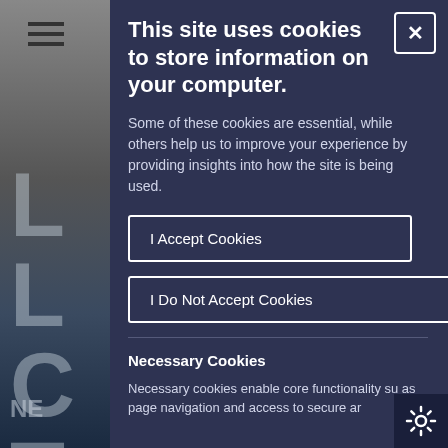This site uses cookies to store information on your computer.
Some of these cookies are essential, while others help us to improve your experience by providing insights into how the site is being used.
I Accept Cookies
I Do Not Accept Cookies
Necessary Cookies
Necessary cookies enable core functionality such as page navigation and access to secure ar